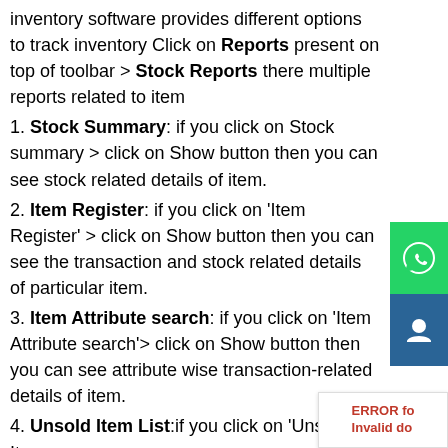inventory software provides different options to track inventory Click on Reports present on top of toolbar > Stock Reports there multiple reports related to item
1. Stock Summary: if you click on Stock summary > click on Show button then you can see stock related details of item.
2. Item Register: if you click on 'Item Register' > click on Show button then you can see the transaction and stock related details of particular item.
3. Item Attribute search: if you click on 'Item Attribute search'> click on Show button then you can see attribute wise transaction-related details of item.
4. Unsold Item List:if you click on 'Unsold Item